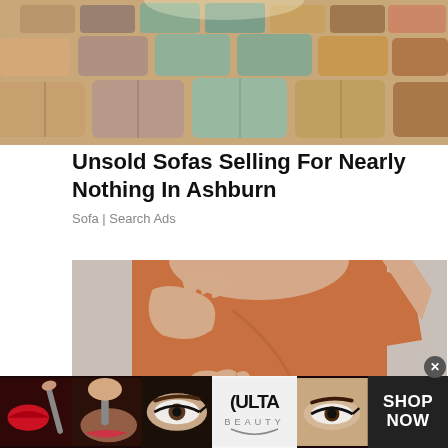[Figure (photo): Overhead view of a furniture showroom with many sofas and couches in various colors including beige, brown, and teal arranged in rows]
Unsold Sofas Selling For Nearly Nothing In Ashburn
Sofa | Search Ads
[Figure (photo): Close-up of a woman wearing a brown/caramel colored short-sleeve top, hands touching her shoulder area, against a light gray background]
[Figure (photo): Ulta Beauty advertisement banner showing makeup imagery: red lipstick with brush, powder brush with makeup, eye with dramatic makeup, Ulta Beauty logo, eye with cat-eye makeup, and SHOP NOW text on dark background]